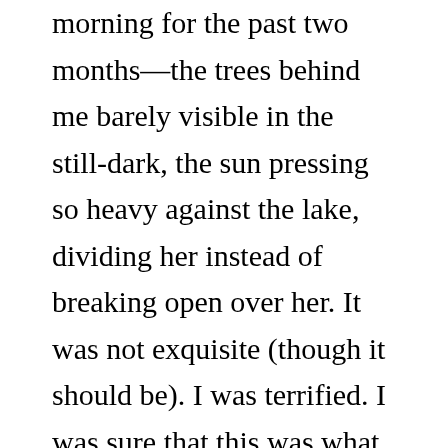morning for the past two months—the trees behind me barely visible in the still-dark, the sun pressing so heavy against the lake, dividing her instead of breaking open over her. It was not exquisite (though it should be). I was terrified. I was sure that this was what it